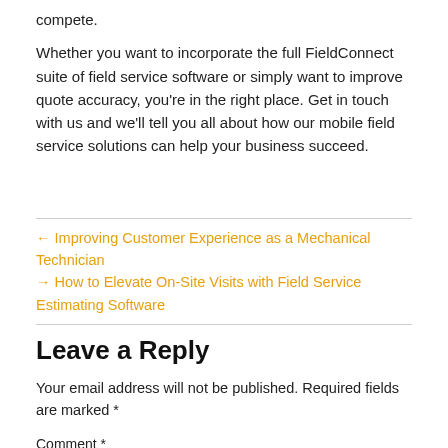compete.
Whether you want to incorporate the full FieldConnect suite of field service software or simply want to improve quote accuracy, you're in the right place. Get in touch with us and we'll tell you all about how our mobile field service solutions can help your business succeed.
← Improving Customer Experience as a Mechanical Technician
→ How to Elevate On-Site Visits with Field Service Estimating Software
Leave a Reply
Your email address will not be published. Required fields are marked *
Comment *